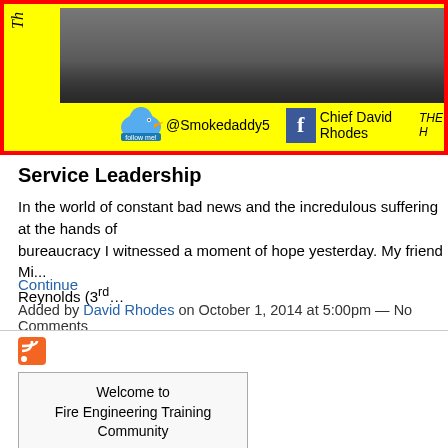[Figure (photo): Banner with yellow background and red border, showing a group photo of people's lower bodies/legs, with Twitter @Smokedaddy5 and Facebook Chief David Rhodes social media icons, and italic text on the left side.]
Service Leadership
In the world of constant bad news and the incredulous suffering at the hands of bureaucracy I witnessed a moment of hope yesterday. My friend Mi... Reynolds (3rd…
Continue
Added by David Rhodes on October 1, 2014 at 5:00pm — No Comments
[Figure (other): RSS feed icon (orange square with white radio waves)]
Welcome to
Fire Engineering Training Community

Sign Up
or Sign In